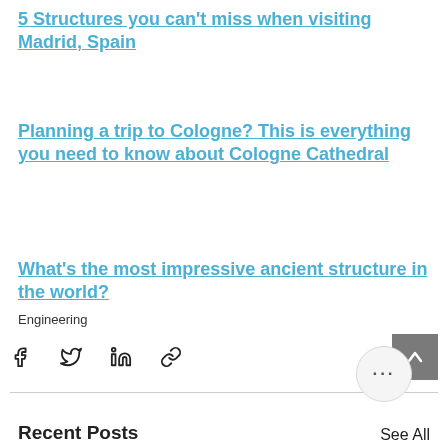5 Structures you can't miss when visiting Madrid, Spain
Planning a trip to Cologne? This is everything you need to know about Cologne Cathedral
What's the most impressive ancient structure in the world?
Engineering
[Figure (other): Social sharing icons row: Facebook, Twitter, LinkedIn, link/chain icon, and a grey scroll-to-top button with upward arrow]
Recent Posts
See All